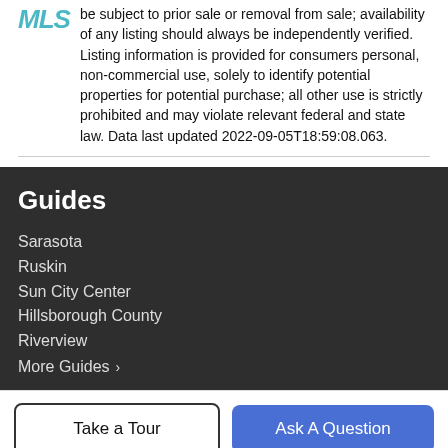be subject to prior sale or removal from sale; availability of any listing should always be independently verified. Listing information is provided for consumers personal, non-commercial use, solely to identify potential properties for potential purchase; all other use is strictly prohibited and may violate relevant federal and state law. Data last updated 2022-09-05T18:59:08.063.
Guides
Sarasota
Ruskin
Sun City Center
Hillsborough County
Riverview
More Guides >